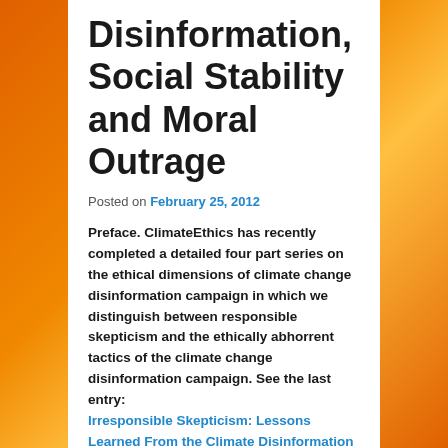Disinformation, Social Stability and Moral Outrage
Posted on February 25, 2012
Preface. ClimateEthics has recently completed a detailed four part series on the ethical dimensions of climate change disinformation campaign in which we distinguish between responsible skepticism and the ethically abhorrent tactics of the climate change disinformation campaign. See the last entry: Irresponsible Skepticism: Lessons Learned From the Climate Disinformation Campaign
The following entry by guest blogger, Dr. Kenneth